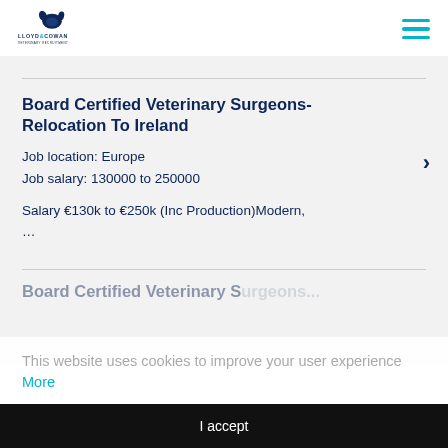Lloyd & Cowan
Board Certified Veterinary Surgeons- Relocation To Ireland
Job location: Europe
Job salary: 130000 to 250000
Salary €130k to €250k (Inc Production)Modern, ...
This website uses cookies to improve your user experience More
I accept